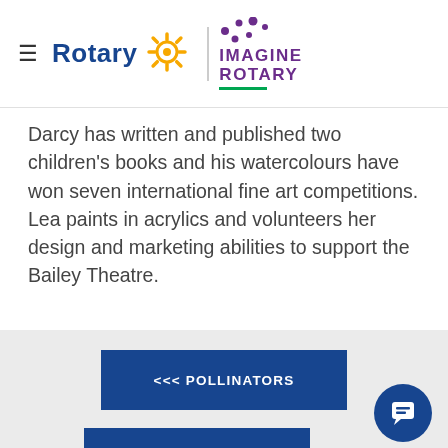Rotary | Imagine Rotary
Darcy has written and published two children's books and his watercolours have won seven international fine art competitions. Lea paints in acrylics and volunteers her design and marketing abilities to support the Bailey Theatre.
<<< POLLINATORS
SKI JUMP >>>